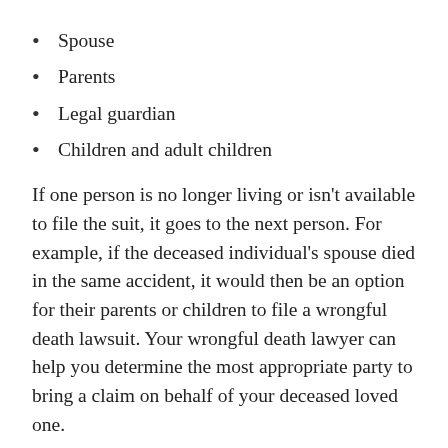Spouse
Parents
Legal guardian
Children and adult children
If one person is no longer living or isn't available to file the suit, it goes to the next person. For example, if the deceased individual's spouse died in the same accident, it would then be an option for their parents or children to file a wrongful death lawsuit. Your wrongful death lawyer can help you determine the most appropriate party to bring a claim on behalf of your deceased loved one.